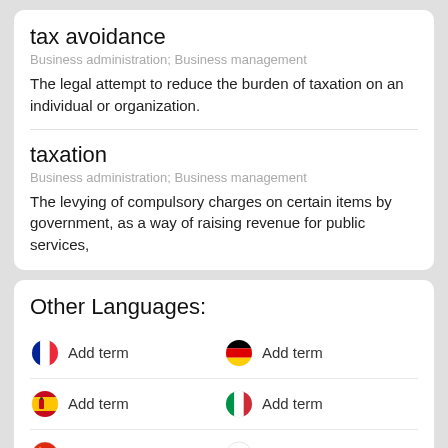tax avoidance
Business administration; Business management
The legal attempt to reduce the burden of taxation on an individual or organization.
taxation
Business administration; Business management
The levying of compulsory charges on certain items by government, as a way of raising revenue for public services,
Other Languages:
Add term (French flag)
Add term (German flag)
Add term (Spanish flag)
Add term (Italian flag)
Add term (Chinese flag)
Add term (Japanese flag)
Add term (Indonesian flag)
Add term (Brazilian flag)
more